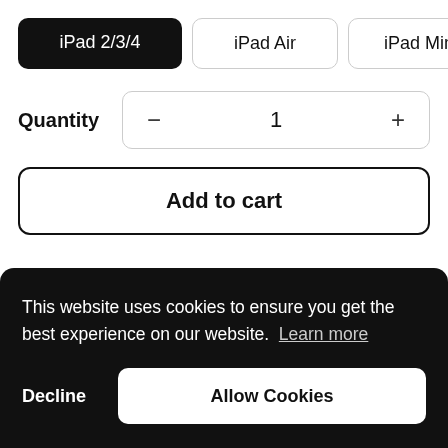iPad 2/3/4
iPad Air
iPad Mini
Quantity  -  1  +
Add to cart
This website uses cookies to ensure you get the best experience on our website. Learn more
Decline
Allow Cookies